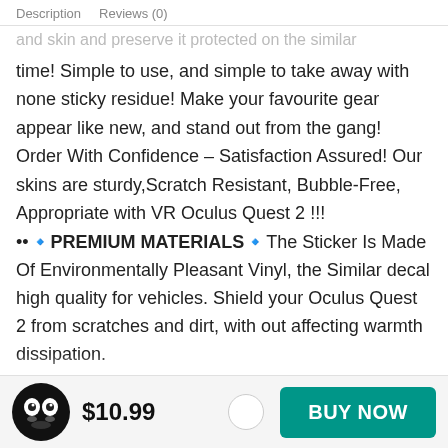Description    Reviews (0)
and skin and preserve it protected on the similar time! Simple to use, and simple to take away with none sticky residue! Make your favourite gear appear like new, and stand out from the gang! Order With Confidence – Satisfaction Assured! Our skins are sturdy,Scratch Resistant, Bubble-Free, Appropriate with VR Oculus Quest 2 !!!
••🔹PREMIUM MATERIALS🔹The Sticker Is Made Of Environmentally Pleasant Vinyl, the Similar decal high quality for vehicles. Shield your Oculus Quest 2 from scratches and dirt, with out affecting warmth dissipation.
••🔹ADVANCED PRINTING🔹Excessive digital decision
$10.99
BUY NOW